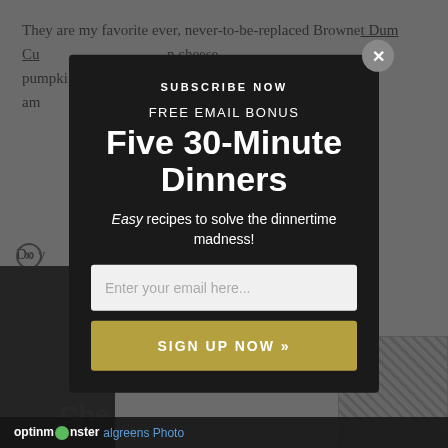They are my favorite ever, never-to-be-replaced Brownie Butter Cream items with cream cheese pumpkin ... just the right am ... oween party!
Do you ... more?
[Figure (screenshot): Email subscription modal overlay on a webpage. Modal has dark background with 'SUBSCRIBE NOW' header, 'FREE EMAIL BONUS' subheader, large bold text 'Five 30-Minute Dinners', italic subtitle 'Easy recipes to solve the dinnertime madness!', an email input field with placeholder 'Enter your email here...', and a gold 'SIGN UP NOW »' button. There is an X close button in the top right of the modal. The background page shows partial article text and images with a dark scrim overlay. Footer bar shows 'optinmonster' logo and 'algreens Photo' credit link.]
optinmonster algreens Photo